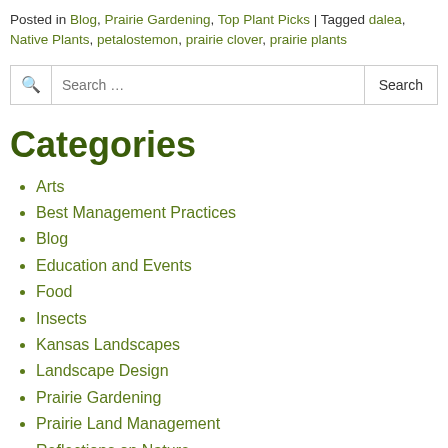Posted in Blog, Prairie Gardening, Top Plant Picks | Tagged dalea, Native Plants, petalostemon, prairie clover, prairie plants
Search ...
Categories
Arts
Best Management Practices
Blog
Education and Events
Food
Insects
Kansas Landscapes
Landscape Design
Prairie Gardening
Prairie Land Management
Reflections on Nature
Roadside Botany